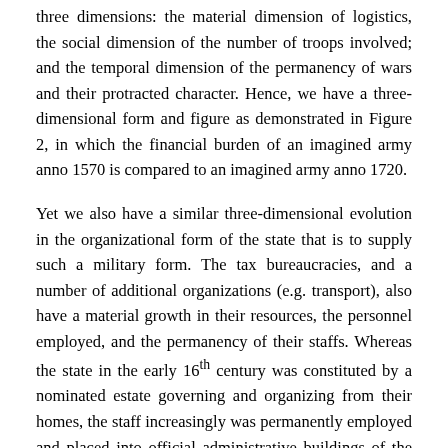three dimensions: the material dimension of logistics, the social dimension of the number of troops involved; and the temporal dimension of the permanency of wars and their protracted character. Hence, we have a three-dimensional form and figure as demonstrated in Figure 2, in which the financial burden of an imagined army anno 1570 is compared to an imagined army anno 1720.
Yet we also have a similar three-dimensional evolution in the organizational form of the state that is to supply such a military form. The tax bureaucracies, and a number of additional organizations (e.g. transport), also have a material growth in their resources, the personnel employed, and the permanency of their staffs. Whereas the state in the early 16th century was constituted by a nominated estate governing and organizing from their homes, the staff increasingly was permanently employed and placed into official administrative buildings of the state. Hence we see a structural coupling between the war